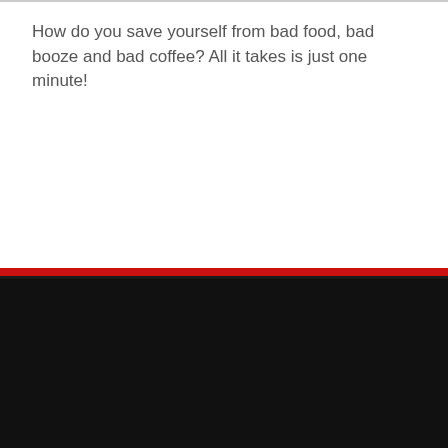How do you save yourself from bad food, bad booze and bad coffee? All it takes is just one minute!
[Figure (logo): DiscoverSG logo with red angular bird/arrow shape above white italic bold text DISCOVERSG on dark background]
Discover SG brings you up-to-date news on the latest events, local news, festivals, and anything else exciting